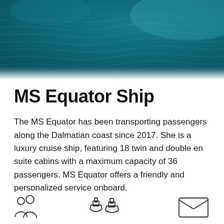[Figure (photo): Aerial view of teal-blue ocean water surface with ripples, cropped at the top of the page]
MS Equator Ship
The MS Equator has been transporting passengers along the Dalmatian coast since 2017. She is a luxury cruise ship, featuring 18 twin and double en suite cabins with a maximum capacity of 36 passengers. MS Equator offers a friendly and personalized service onboard.
[Figure (illustration): Row of icons at the bottom of the page: person/people icons on the left, ship/boat icons in the middle, envelope/mail icon on the right]